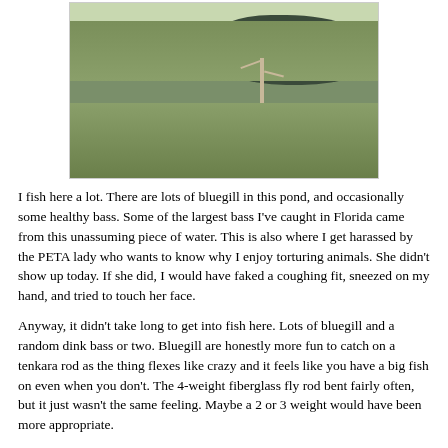[Figure (photo): Outdoor photograph of a small pond surrounded by grass and a bare tree in the foreground, with trees and sky reflected in the dark water.]
I fish here a lot. There are lots of bluegill in this pond, and occasionally some healthy bass. Some of the largest bass I've caught in Florida came from this unassuming piece of water. This is also where I get harassed by the PETA lady who wants to know why I enjoy torturing animals. She didn't show up today. If she did, I would have faked a coughing fit, sneezed on my hand, and tried to touch her face.
Anyway, it didn't take long to get into fish here. Lots of bluegill and a random dink bass or two. Bluegill are honestly more fun to catch on a tenkara rod as the thing flexes like crazy and it feels like you have a big fish on even when you don't. The 4-weight fiberglass fly rod bent fairly often, but it just wasn't the same feeling. Maybe a 2 or 3 weight would have been more appropriate.